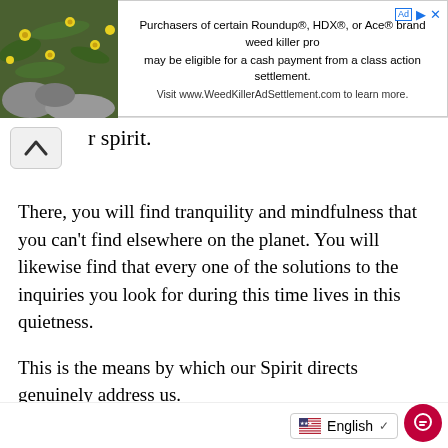[Figure (screenshot): Advertisement banner for Roundup/HDX/Ace weed killer class action settlement with plant image on left and text on right]
r spirit.
There, you will find tranquility and mindfulness that you can't find elsewhere on the planet. You will likewise find that every one of the solutions to the inquiries you look for during this time lives in this quietness.
This is the means by which our Spirit directs genuinely address us.
In spite of the fact that we will quite often look beyond ourselves for answers more often than not, which is the reason we are bound to see the Angel numbers they send us instead of the immediate line of data profound inside our spirit.